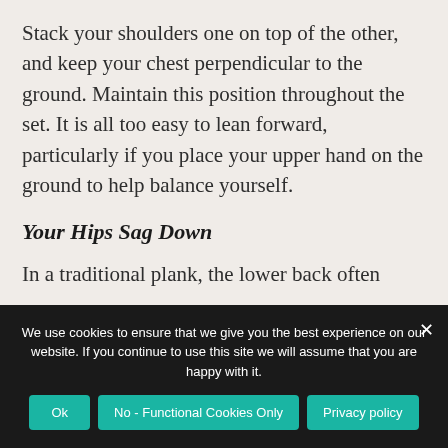Stack your shoulders one on top of the other, and keep your chest perpendicular to the ground. Maintain this position throughout the set. It is all too easy to lean forward, particularly if you place your upper hand on the ground to help balance yourself.
Your Hips Sag Down
In a traditional plank, the lower back often
We use cookies to ensure that we give you the best experience on our website. If you continue to use this site we will assume that you are happy with it.